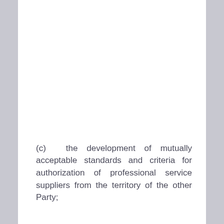(c)       the development of mutually acceptable standards and criteria for authorization of professional service suppliers from the territory of the other Party;